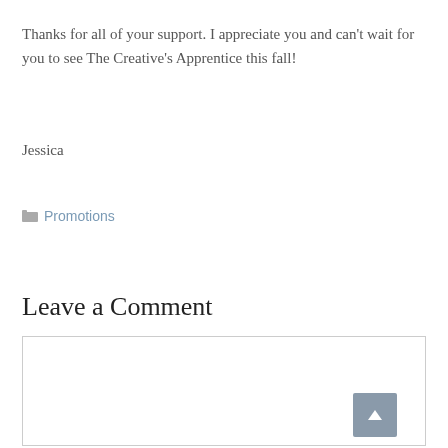Thanks for all of your support.  I appreciate you and can't wait for you to see The Creative's Apprentice this fall!
Jessica
Promotions
Leave a Comment